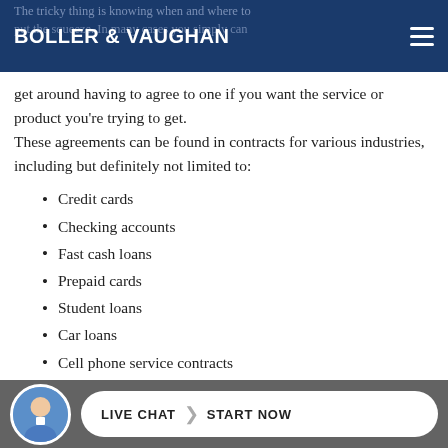BOLLER & VAUGHAN
The tricky thing is knowing when and where to put the squeeze. In many cases you simply can get around having to agree to one if you want the service or product you're trying to get. These agreements can be found in contracts for various industries, including but definitely not limited to:
Credit cards
Checking accounts
Fast cash loans
Prepaid cards
Student loans
Car loans
Cell phone service contracts
Retirement accounts
[partially visible]